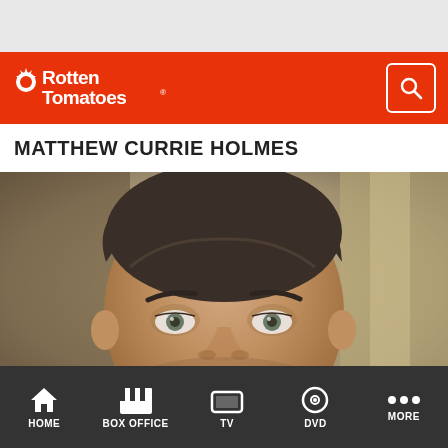Rotten Tomatoes
MATTHEW CURRIE HOLMES
[Figure (photo): Headshot photo of Matthew Currie Holmes, a man with short dark brown hair, looking forward against a blurred background]
HOME   BOX OFFICE   TV   DVD   MORE